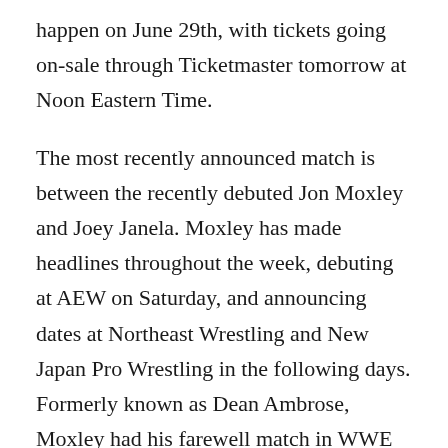happen on June 29th, with tickets going on-sale through Ticketmaster tomorrow at Noon Eastern Time.
The most recently announced match is between the recently debuted Jon Moxley and Joey Janela. Moxley has made headlines throughout the week, debuting at AEW on Saturday, and announcing dates at Northeast Wrestling and New Japan Pro Wrestling in the following days. Formerly known as Dean Ambrose, Moxley had his farewell match in WWE back in late April, and stayed out of the public eye until recently.
One of the head figures of AEW, Cody, will also be in action as he is set to face Darby Allin in a singles match. Other household names of the promotion, Kenny Omega and The Young Bucks, also known as The Elite,